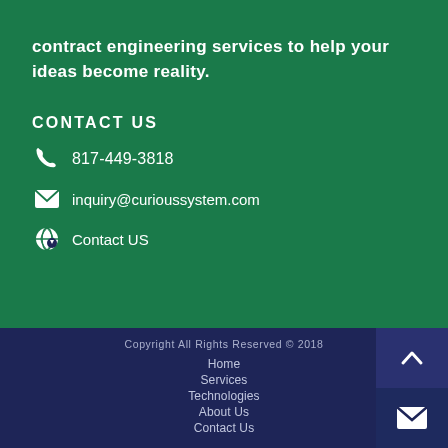contract engineering services to help your ideas become reality.
CONTACT US
817-449-3818
inquiry@curioussystem.com
Contact US
Copyright All Rights Reserved © 2018
Home
Services
Technologies
About Us
Contact Us